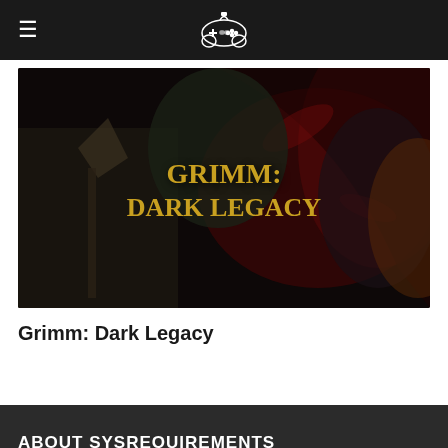≡ [game controller icon]
[Figure (illustration): Game cover art for Grimm: Dark Legacy showing fantasy/horror characters fighting, with the game title displayed in gold text on a dark red background]
Grimm: Dark Legacy
ABOUT SYSREQUIREMENTS
SysRequirements is an online database of system